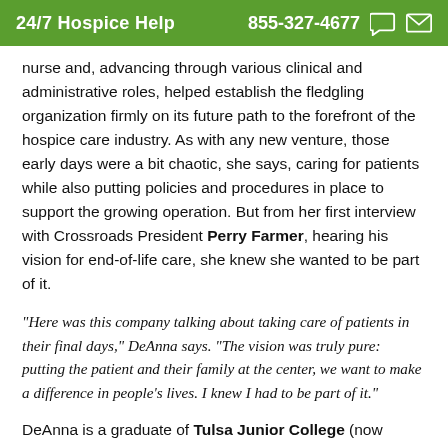24/7 Hospice Help  855-327-4677
nurse and, advancing through various clinical and administrative roles, helped establish the fledgling organization firmly on its future path to the forefront of the hospice care industry. As with any new venture, those early days were a bit chaotic, she says, caring for patients while also putting policies and procedures in place to support the growing operation. But from her first interview with Crossroads President Perry Farmer, hearing his vision for end-of-life care, she knew she wanted to be part of it.
“Here was this company talking about taking care of patients in their final days,” DeAnna says. “The vision was truly pure: putting the patient and their family at the center, we want to make a difference in people’s lives. I knew I had to be part of it.”
DeAnna is a graduate of Tulsa Junior College (now Tulsa Community College) with an AS in Nursing. She continued